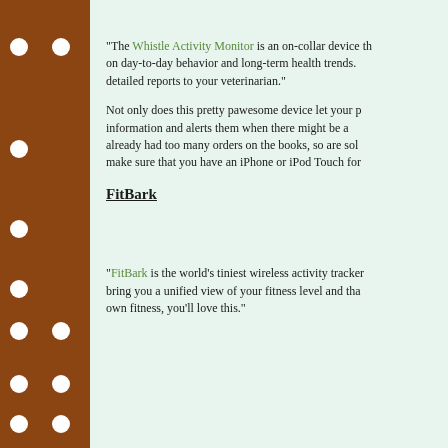"The Whistle Activity Monitor is an on-collar device that tracks data on day-to-day behavior and long-term health trends. You can also share detailed reports to your veterinarian."
Not only does this pretty pawesome device let your p... information and alerts them when there might be a... already had too many orders on the books, so are sol... make sure that you have an iPhone or iPod Touch for...
FitBark
"FitBark is the world's tiniest wireless activity tracker... bring you a unified view of your fitness level and tha... own fitness, you'll love this."